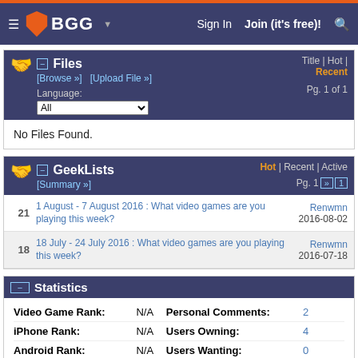BGG - Sign In | Join (it's free)!
Files – Title | Hot | Recent – Pg. 1 of 1
No Files Found.
GeekLists – Hot | Recent | Active – Pg. 1
21 – 1 August - 7 August 2016 : What video games are you playing this week? – Renwmn – 2016-08-02
18 – 18 July - 24 July 2016 : What video games are you playing this week? – Renwmn – 2016-07-18
Statistics
| Stat | Value | Stat | Value |
| --- | --- | --- | --- |
| Video Game Rank: | N/A | Personal Comments: | 2 |
| iPhone Rank: | N/A | Users Owning: | 4 |
| Android Rank: | N/A | Users Wanting: | 0 |
| iPad Rank: | N/A |  | 0 [find trade |
| Num Ratings: | 4 | Users Trading: |  |